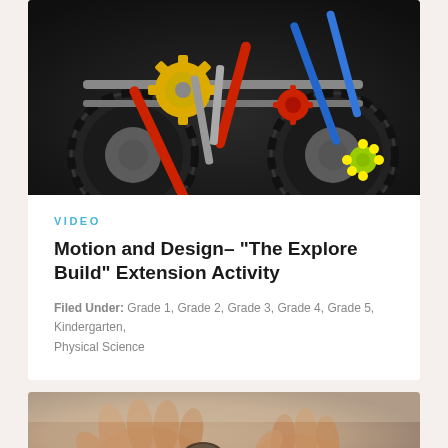[Figure (photo): Photo of a colorful K'NEX toy vehicle with large black rubber wheels, yellow, red, blue and gray connector rods/gears on a dark background]
VIDEO
Motion and Design– "The Explore Build" Extension Activity
Filed Under: Grade 1, Grade 2, Grade 3, Grade 4, Grade 5, Kindergarten, Physical Science
[Figure (photo): Photo of hands working with small mechanical parts or tools on a neutral background, partially visible]